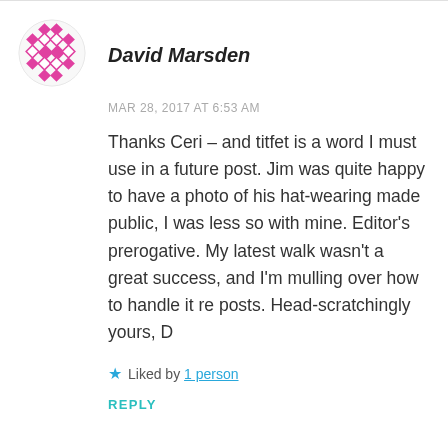[Figure (illustration): Circular avatar image with a pink/magenta geometric diamond/grid pattern on white background]
David Marsden
MAR 28, 2017 AT 6:53 AM
Thanks Ceri – and titfet is a word I must use in a future post. Jim was quite happy to have a photo of his hat-wearing made public, I was less so with mine. Editor's prerogative. My latest walk wasn't a great success, and I'm mulling over how to handle it re posts. Head-scratchingly yours, D
★ Liked by 1 person
REPLY